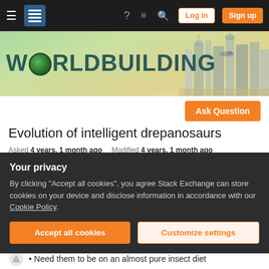Navigation bar with hamburger menu, Stack Exchange logo, help icon, chat icon, search icon, Log in button, Sign up button
[Figure (illustration): Worldbuilding Stack Exchange banner with teal/green WORLDBUILDING text, globe replacing the 'O', and fantasy cityscape on the right]
Evolution of intelligent drepanosaurs
Asked 4 years, 1 month ago   Modified 4 years, 1 month ago   Viewed 237 times
For a story I require an intelligent [drepanosaur]. But
Your privacy
By clicking "Accept all cookies", you agree Stack Exchange can store cookies on your device and disclose information in accordance with our Cookie Policy.
Accept all cookies   Customize settings
Need them to be on an almost pure insect diet